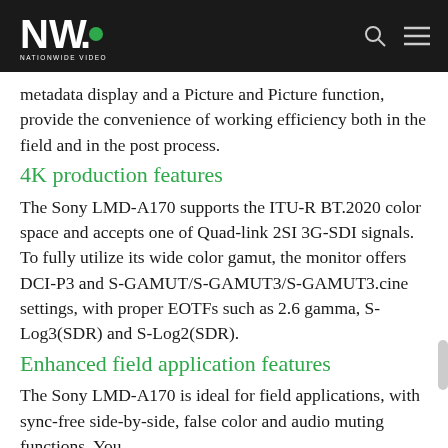NW. NATIONWIDE VIDEO
metadata display and a Picture and Picture function, provide the convenience of working efficiency both in the field and in the post process.
4K production features
The Sony LMD-A170 supports the ITU-R BT.2020 color space and accepts one of Quad-link 2SI 3G-SDI signals. To fully utilize its wide color gamut, the monitor offers DCI-P3 and S-GAMUT/S-GAMUT3/S-GAMUT3.cine settings, with proper EOTFs such as 2.6 gamma, S-Log3(SDR) and S-Log2(SDR).
Enhanced field application features
The Sony LMD-A170 is ideal for field applications, with sync-free side-by-side, false color and audio muting functions. You